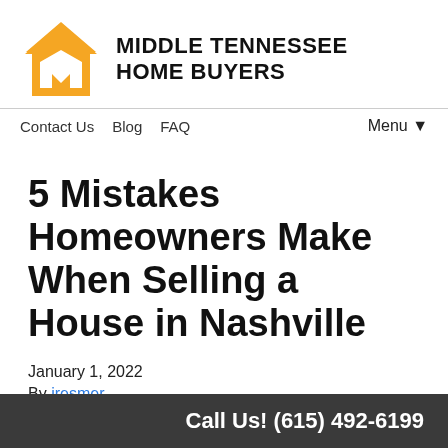[Figure (logo): Middle Tennessee Home Buyers logo: orange house icon with white M shape inside, next to bold uppercase text MIDDLE TENNESSEE HOME BUYERS]
Contact Us  Blog  FAQ  Menu ▼
5 Mistakes Homeowners Make When Selling a House in Nashville
January 1, 2022
By jresmer
Don't you want the most profit possible when you sell your home? Why settle for less when you could save
Call Us! (615) 492-6199